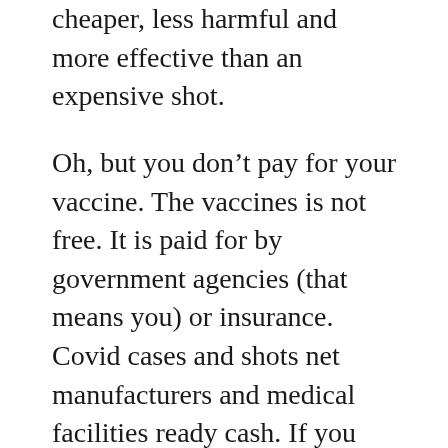cheaper, less harmful and more effective than an expensive shot.
Oh, but you don’t pay for your vaccine. The vaccines is not free. It is paid for by government agencies (that means you) or insurance. Covid cases and shots net manufacturers and medical facilities ready cash. If you have the flu, but you die from a heart attack, your death certificate reads you died from the heart attack. But with Covid, if you have Covid but die from a heart attack, in many facilities your death certificate will